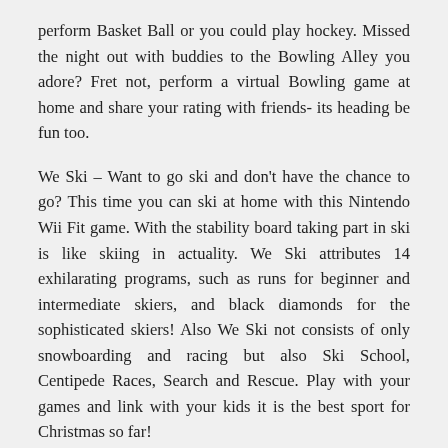perform Basket Ball or you could play hockey. Missed the night out with buddies to the Bowling Alley you adore? Fret not, perform a virtual Bowling game at home and share your rating with friends- its heading be fun too.
We Ski – Want to go ski and don't have the chance to go? This time you can ski at home with this Nintendo Wii Fit game. With the stability board taking part in ski is like skiing in actuality. We Ski attributes 14 exhilarating programs, such as runs for beginner and intermediate skiers, and black diamonds for the sophisticated skiers! Also We Ski not consists of only snowboarding and racing but also Ski School, Centipede Races, Search and Rescue. Play with your games and link with your kids it is the best sport for Christmas so far!
Use bluetooth to connect the Iphone wirelessly to a established of speakers. Ok! Perhaps this is not to very best concept when it arrives to docking it for the night as